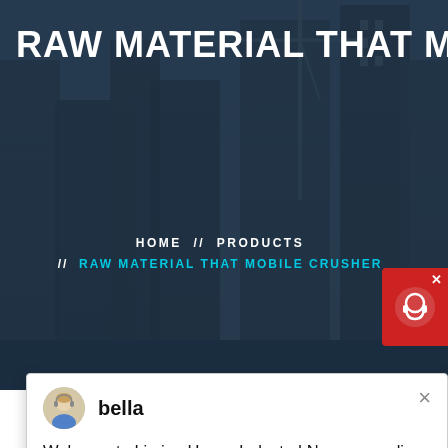RAW MATERIAL THAT MOBILE C
HOME // PRODUCTS // RAW MATERIAL THAT MOBILE CRUSHER
[Figure (screenshot): Chat popup from Liming Heavy Industry website showing avatar of 'bella' and message: Welcome to Liming Heavy Industry! Now our on-line service is chatting with you! please choose: 1.English]
Latest Projects
[Figure (photo): Industrial machinery/crusher equipment in a facility, showing metal conveyor or crushing equipment structures]